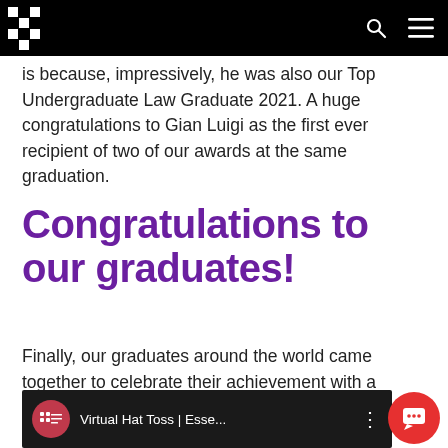[University navigation bar with logo, search, and menu icons]
is because, impressively, he was also our Top Undergraduate Law Graduate 2021. A huge congratulations to Gian Luigi as the first ever recipient of two of our awards at the same graduation.
Congratulations to our graduates!
Finally, our graduates around the world came together to celebrate their achievement with a virtual hat toss!
[Figure (screenshot): Video bar showing a YouTube-style video thumbnail with University of Essex logo, title 'Virtual Hat Toss | Esse...' and a three-dot menu icon on a dark background]